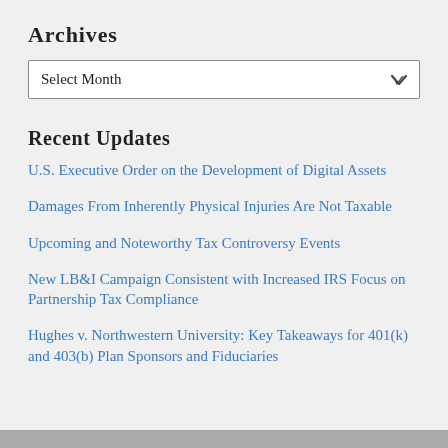Archives
Select Month
Recent Updates
U.S. Executive Order on the Development of Digital Assets
Damages From Inherently Physical Injuries Are Not Taxable
Upcoming and Noteworthy Tax Controversy Events
New LB&I Campaign Consistent with Increased IRS Focus on Partnership Tax Compliance
Hughes v. Northwestern University: Key Takeaways for 401(k) and 403(b) Plan Sponsors and Fiduciaries